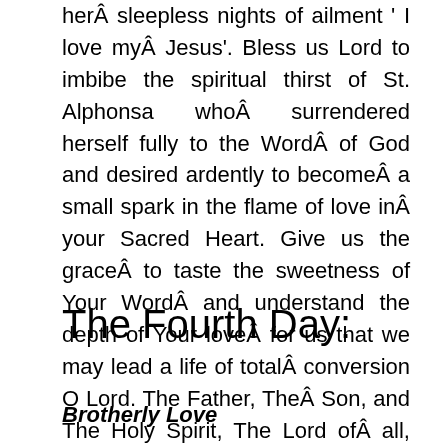herÂ sleepless nights of ailment ‘ I love myÂ Jesus’. Bless us Lord to imbibe the spiritual thirst of St. Alphonsa whoÂ surrendered herself fully to the WordÂ of God and desired ardently to becomeÂ a small spark in the flame of love inÂ your Sacred Heart. Give us the graceÂ to taste the sweetness of Your WordÂ and understand the depth of Your loveÂ for us that we may lead a life of totalÂ conversion O Lord. The Father, TheÂ Son, and The Holy Spirit, The Lord ofÂ all, forever.
Res: Amen.
The Fourth Day:
Brotherly Love